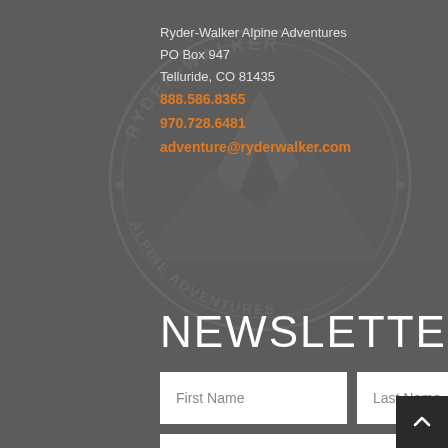[Figure (logo): Ryder-Walker Alpine Adventures circular logo watermark with mountain illustration, shown as a grey watermark in background]
Ryder-Walker Alpine Adventures
PO Box 947
Telluride, CO 81435
888.586.8365
970.728.6481
adventure@ryderwalker.com
NEWSLETTER
First Name
Last Name
Enter Your Email *
SUBSCRIBE